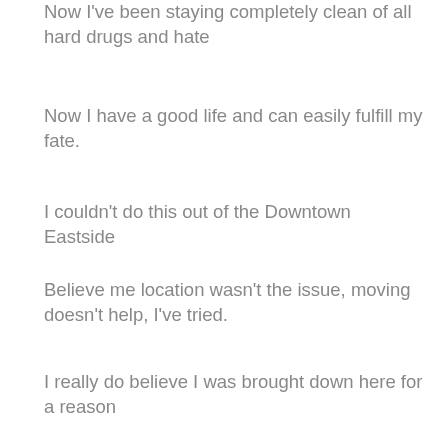Now I've been staying completely clean of all hard drugs and hate
Now I have a good life and can easily fulfill my fate.
I couldn't do this out of the Downtown Eastside
Believe me location wasn't the issue, moving doesn't help, I've tried.
I really do believe I was brought down here for a reason
Because I got out, my addiction is at the end of its season